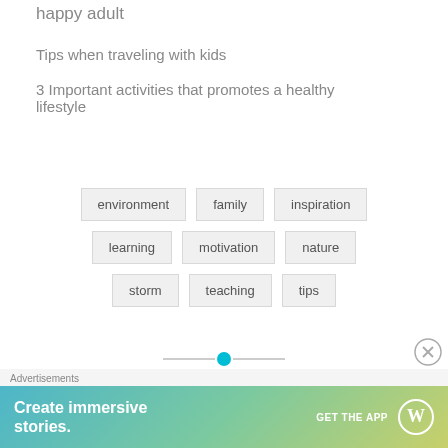happy adult
Tips when traveling with kids
3 Important activities that promotes a healthy lifestyle
environment  family  inspiration  learning  motivation  nature  storm  teaching  tips
[Figure (other): Pagination indicator with cyan dot and lines]
Advertisements
[Figure (other): WordPress advertisement banner: Create immersive stories. GET THE APP with WordPress logo]